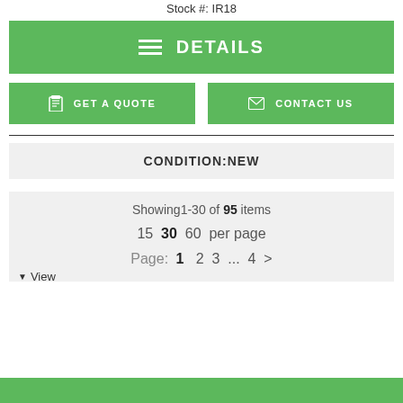Stock #: IR18
DETAILS
GET A QUOTE
CONTACT US
CONDITION: NEW
Showing1-30 of 95 items
15  30  60  per page
Page: 1  2  3  ...  4  >
▼ View